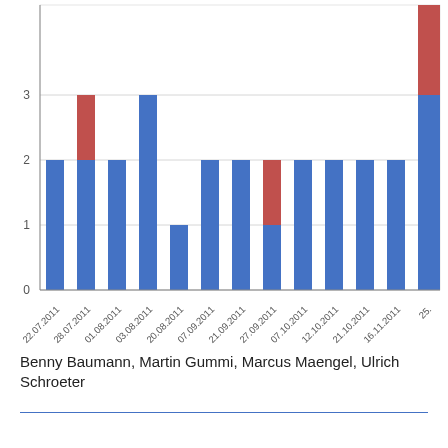[Figure (stacked-bar-chart): ]
Benny Baumann, Martin Gummi, Marcus Maengel, Ulrich Schroeter